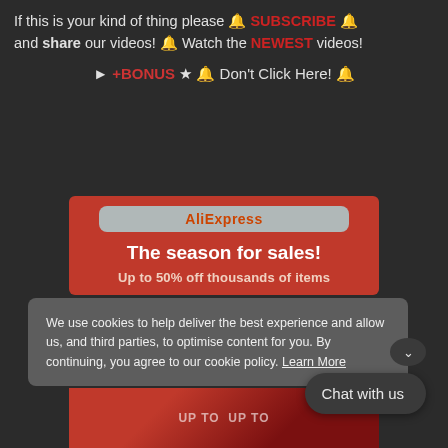If this is your kind of thing please 🔔 SUBSCRIBE 🔔 and share our videos! 🔔 Watch the NEWEST videos!
► +BONUS ★ 🔔 Don't Click Here! 🔔
[Figure (screenshot): AliExpress advertisement banner showing 'The season for sales! Up to 50% off thousands of items' on a red background with AliExpress logo]
We use cookies to help deliver the best experience and allow us, and third parties, to optimise content for you. By continuing, you agree to our cookie policy. Learn More
Chat with us